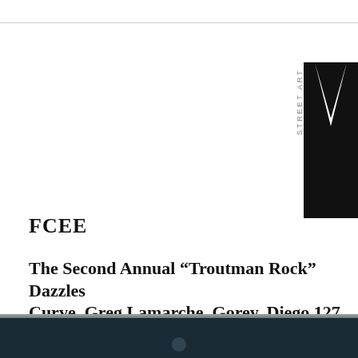[Figure (logo): Street Art News logo — vertical text 'STREET ART' beside a large bold letter 'N' in black]
FCEE
The Second Annual “Troutman Rock” Dazzles Curve, Greg Lamarche, Gorey, Diego 127, Chip
JUNE 20, 2022
[Figure (photo): Bottom portion of a photograph showing a dark teal/navy colored surface with a metallic silver top edge strip]